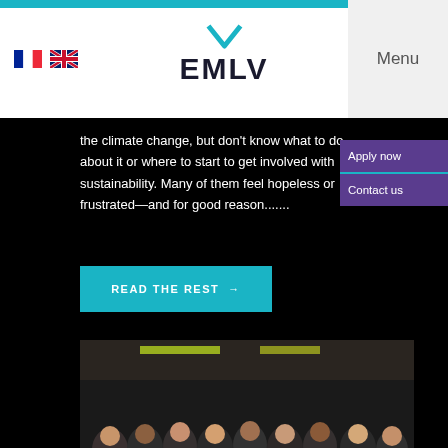EMLV — Menu
the climate change, but don't know what to do about it or where to start to get involved with sustainability. Many of them feel hopeless or frustrated—and for good reason.......
READ THE REST →
[Figure (photo): Group photo of diverse students at an event, smiling and posing for the camera in an indoor setting with colorful lighting.]